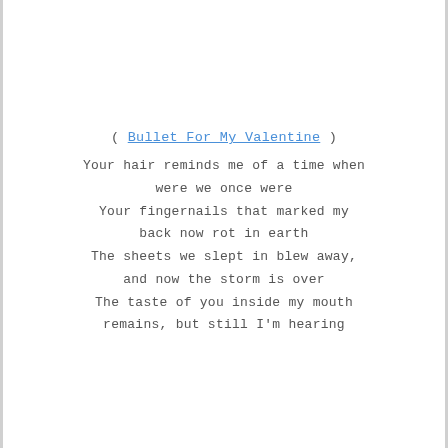( Bullet For My Valentine )
Your hair reminds me of a time when
were we once were
Your fingernails that marked my
back now rot in earth
The sheets we slept in blew away,
and now the storm is over
The taste of you inside my mouth
remains, but still I'm hearing